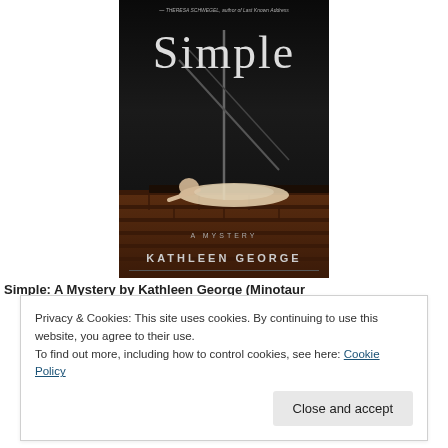[Figure (illustration): Book cover of 'Simple: A Mystery' by Kathleen George. Dark cover showing a person lying on brick steps at night. Title 'Simple' in large serif text at top, 'A Mystery' subtitle, 'KATHLEEN GEORGE' at bottom. Quote at very top from Theresa Schwegel.]
Simple: A Mystery by Kathleen George (Minotaur...
Privacy & Cookies: This site uses cookies. By continuing to use this website, you agree to their use.
To find out more, including how to control cookies, see here: Cookie Policy
Close and accept